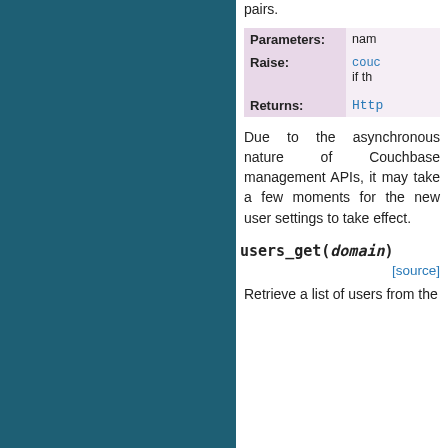pairs.
| Parameters: | name |
| --- | --- |
| Raise: | couchbase... if the... |
| Returns: | Http... |
Due to the asynchronous nature of Couchbase management APIs, it may take a few moments for the new user settings to take effect.
users_get(domain)
[source]
Retrieve a list of users from the...